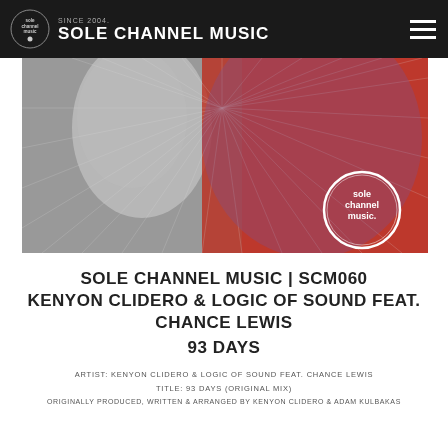SINCE 2004 SOLE CHANNEL MUSIC
[Figure (photo): Album artwork for SCM060 showing a man's face in black and white with colorful geometric light rays on a red background. Sole channel music logo circle visible in bottom right.]
SOLE CHANNEL MUSIC | SCM060
KENYON CLIDERO & LOGIC OF SOUND FEAT.
CHANCE LEWIS
93 DAYS
ARTIST: KENYON CLIDERO & LOGIC OF SOUND FEAT. CHANCE LEWIS
TITLE: 93 DAYS (ORIGINAL MIX)
ORIGINALLY PRODUCED, WRITTEN & ARRANGED BY KENYON CLIDERO & ADAM KULBAKAS